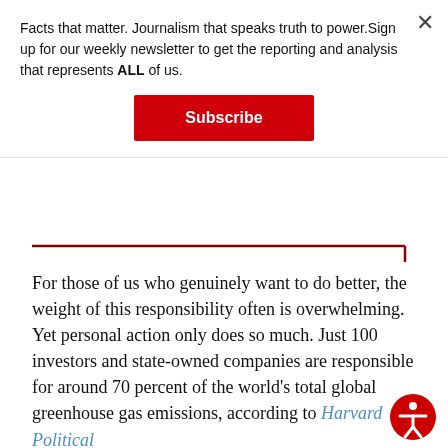Facts that matter. Journalism that speaks truth to power.Sign up for our weekly newsletter to get the reporting and analysis that represents ALL of us.
Subscribe
For those of us who genuinely want to do better, the weight of this responsibility often is overwhelming. Yet personal action only does so much. Just 100 investors and state-owned companies are responsible for around 70 percent of the world's total global greenhouse gas emissions, according to Harvard Political